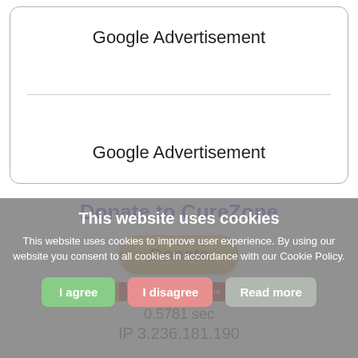[Figure (other): Rounded border box containing two Google Advertisement placeholders divided by a horizontal rule]
Google Advertisement
Google Advertisement
Donate to CureZone
[Figure (other): Yellow/gold donate button with italic bold text 'Donate']
[Figure (other): Payment icons: Mastercard, Visa, and other card logos]
0.5781 sec
IP 3.236.181.190
This website uses cookies
This website uses cookies to improve user experience. By using our website you consent to all cookies in accordance with our Cookie Policy.
I agree
I disagree
Read more